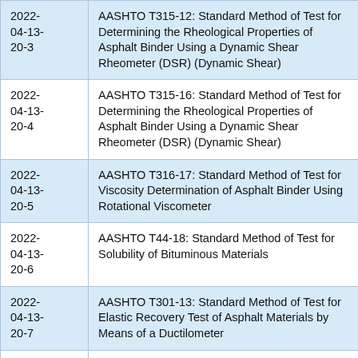| Date | Standard |
| --- | --- |
| 2022-04-13-20-3 | AASHTO T315-12: Standard Method of Test for Determining the Rheological Properties of Asphalt Binder Using a Dynamic Shear Rheometer (DSR) (Dynamic Shear) |
| 2022-04-13-20-4 | AASHTO T315-16: Standard Method of Test for Determining the Rheological Properties of Asphalt Binder Using a Dynamic Shear Rheometer (DSR) (Dynamic Shear) |
| 2022-04-13-20-5 | AASHTO T316-17: Standard Method of Test for Viscosity Determination of Asphalt Binder Using Rotational Viscometer |
| 2022-04-13-20-6 | AASHTO T44-18: Standard Method of Test for Solubility of Bituminous Materials |
| 2022-04-13-20-7 | AASHTO T301-13: Standard Method of Test for Elastic Recovery Test of Asphalt Materials by Means of a Ductilometer |
| 2022-04-13-20-8 | AASHTO T313-19: Standard Method of Test for Determining the Flexural Creep Stiffness of Asphalt Binder Using the Bending Beam Rheometer (BBR) |